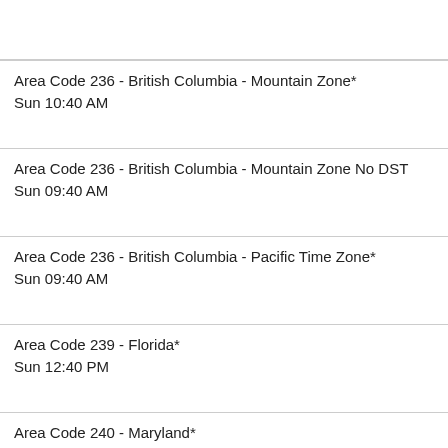Area Code 236 - British Columbia - Mountain Zone*
Sun 10:40 AM
Area Code 236 - British Columbia - Mountain Zone No DST
Sun 09:40 AM
Area Code 236 - British Columbia - Pacific Time Zone*
Sun 09:40 AM
Area Code 239 - Florida*
Sun 12:40 PM
Area Code 240 - Maryland*
Sun 12:40 PM